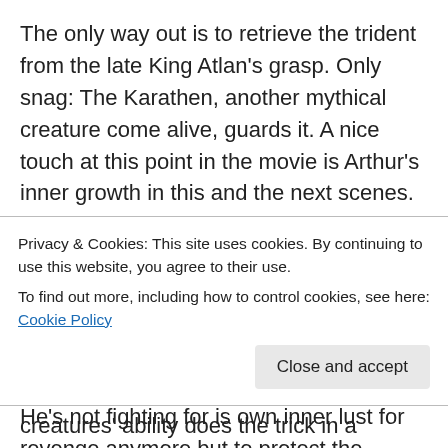The only way out is to retrieve the trident from the late King Atlan's grasp. Only snag: The Karathen, another mythical creature come alive, guards it. A nice touch at this point in the movie is Arthur's inner growth in this and the next scenes. Much of his anger and resentment rested on the loss of his mother and the cruelty of the Atlantean sentence. (*2) To him, it equalled punishing his mere existence and he partly blamed himself for Atlanna's death. Now she's here and urges him on. He's not fighting for is own inner lust for revenge anymore but to protect the people from
Privacy & Cookies: This site uses cookies. By continuing to use this website, you agree to their use.
To find out more, including how to control cookies, see here: Cookie Policy
creatures' ability does the trick in a classic 'the